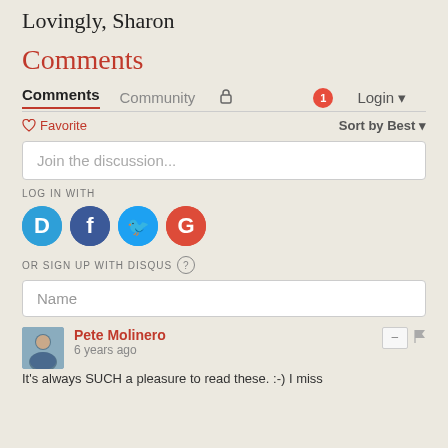Lovingly, Sharon
Comments
[Figure (screenshot): Disqus comment section interface with tabs (Comments, Community), lock icon, notification badge showing 1, Login button, Favorite link, Sort by Best dropdown, discussion input box, social login icons (Disqus, Facebook, Twitter, Google), sign up with Disqus, Name field, and first comment by Pete Molinero posted 6 years ago.]
It's always SUCH a pleasure to read these. :-) I miss